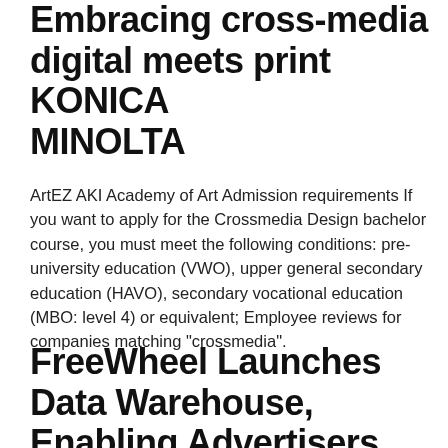Embracing cross-media digital meets print KONICA MINOLTA
ArtEZ AKI Academy of Art Admission requirements If you want to apply for the Crossmedia Design bachelor course, you must meet the following conditions: pre-university education (VWO), upper general secondary education (HAVO), secondary vocational education (MBO: level 4) or equivalent; Employee reviews for companies matching "crossmedia".
FreeWheel Launches Data Warehouse, Enabling Advertisers